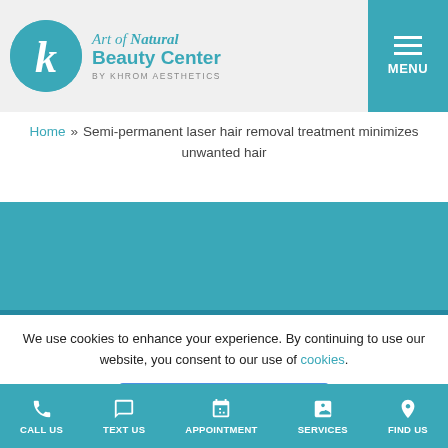[Figure (logo): Art of Natural Beauty Center by Khrom Aesthetics logo with teal circle containing stylized K]
Home » Semi-permanent laser hair removal treatment minimizes unwanted hair
[Figure (photo): Teal/blue section area, appears to be a decorative or image section]
We use cookies to enhance your experience. By continuing to use our website, you consent to our use of cookies.
Got It
CALL US  TEXT US  APPOINTMENT  SERVICES  FIND US